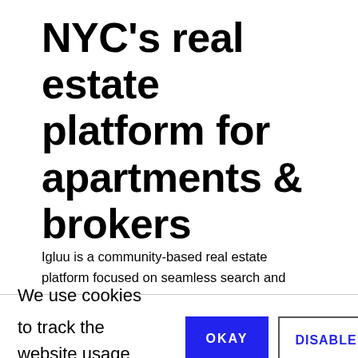NYC's real estate platform for apartments & brokers
Igluu is a community-based real estate platform focused on seamless search and discovery. Unlike other sites, Igluu protects broker's exclusive listings, never auctioning their leads to random un-vetted agents.
We use cookies to track the website usage and user
OKAY
DISABLE